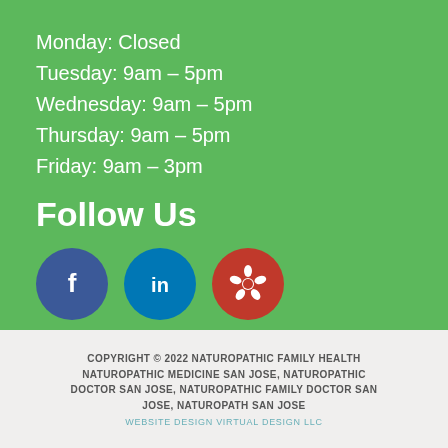Monday: Closed
Tuesday: 9am – 5pm
Wednesday: 9am – 5pm
Thursday: 9am – 5pm
Friday: 9am – 3pm
Follow Us
[Figure (infographic): Three social media icons: Facebook (dark blue circle with f), LinkedIn (blue circle with 'in'), Yelp (red circle with Yelp burst logo)]
COPYRIGHT © 2022 NATUROPATHIC FAMILY HEALTH NATUROPATHIC MEDICINE SAN JOSE, NATUROPATHIC DOCTOR SAN JOSE, NATUROPATHIC FAMILY DOCTOR SAN JOSE, NATUROPATH SAN JOSE
WEBSITE DESIGN VIRTUAL DESIGN LLC